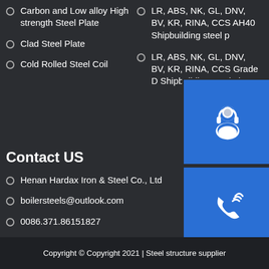Carbon and Low alloy High strength Steel Plate
Clad Steel Plate
Cold Rolled Steel Coil
LR, ABS, NK, GL, DNV, BV, KR, RINA, CCS AH40 Shipbuilding steel plate
LR, ABS, NK, GL, DNV, BV, KR, RINA, CCS Grade D Shipbuilding steel plate
Contact US
Henan Hardax Iron & Steel Co., Ltd
boilersteels@outlook.com
0086.371.86151827
Development Zone, Zhengzhou, China
Copyright © Copyright 2021 | Steel structure supplier